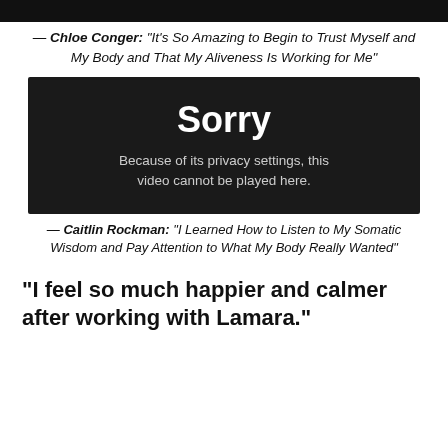[Figure (photo): Dark/black image bar at top of page (cropped photo)]
— Chloe Conger: "It's So Amazing to Begin to Trust Myself and My Body and That My Aliveness Is Working for Me"
[Figure (screenshot): Black video placeholder box with text: 'Sorry — Because of its privacy settings, this video cannot be played here.']
— Caitlin Rockman: "I Learned How to Listen to My Somatic Wisdom and Pay Attention to What My Body Really Wanted"
“I feel so much happier and calmer after working with Lamara.”